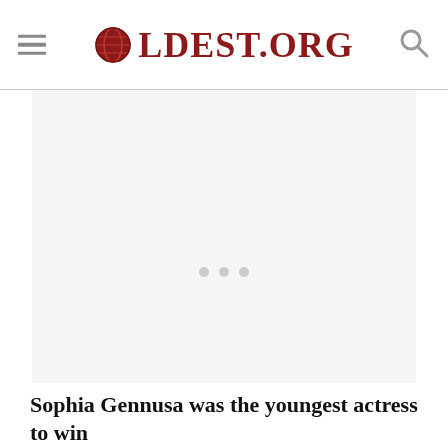OLDEST.ORG
[Figure (other): Advertisement placeholder area with three loading dots centered in a light gray rectangle]
Sophia Gennusa was the youngest actress to win